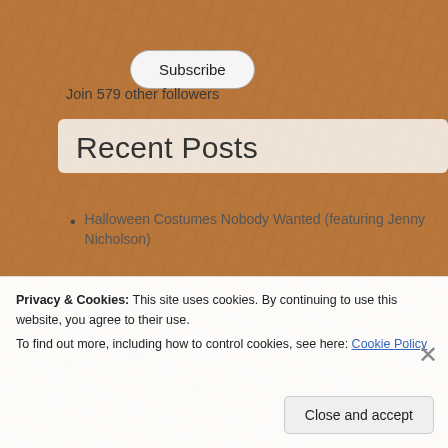[Figure (screenshot): Wooden textured background with warm brown tones, scratches and grain visible]
Subscribe
Join 579 other followers
Recent Posts
Halloween Costumes Nobody Wanted (featuring Jenny Nicholson)
Taking Dictation
BIG Dog Wash
Privacy & Cookies: This site uses cookies. By continuing to use this website, you agree to their use.
To find out more, including how to control cookies, see here: Cookie Policy
Close and accept